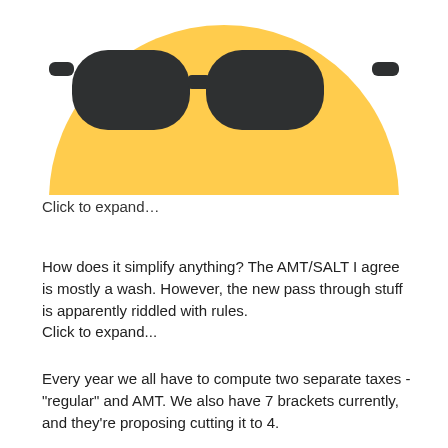[Figure (illustration): A large yellow smiley face emoji wearing dark sunglasses, showing bottom portion cut off, centered on page]
Click to expand…
How does it simplify anything? The AMT/SALT I agree is mostly a wash. However, the new pass through stuff is apparently riddled with rules.
Click to expand...
Every year we all have to compute two separate taxes - "regular" and AMT.  We also have 7 brackets currently, and they're proposing cutting it to 4.